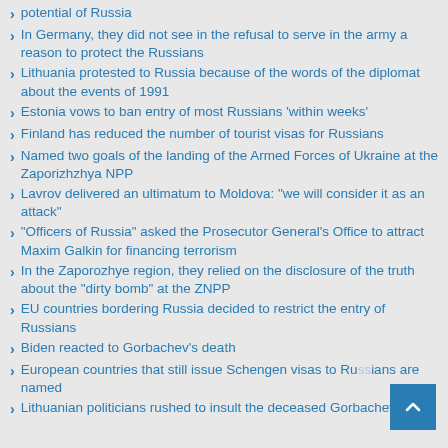potential of Russia
In Germany, they did not see in the refusal to serve in the army a reason to protect the Russians
Lithuania protested to Russia because of the words of the diplomat about the events of 1991
Estonia vows to ban entry of most Russians 'within weeks'
Finland has reduced the number of tourist visas for Russians
Named two goals of the landing of the Armed Forces of Ukraine at the Zaporizhzhya NPP
Lavrov delivered an ultimatum to Moldova: "we will consider it as an attack"
"Officers of Russia" asked the Prosecutor General's Office to attract Maxim Galkin for financing terrorism
In the Zaporozhye region, they relied on the disclosure of the truth about the "dirty bomb" at the ZNPP
EU countries bordering Russia decided to restrict the entry of Russians
Biden reacted to Gorbachev's death
European countries that still issue Schengen visas to Russians are named
Lithuanian politicians rushed to insult the deceased Gorbachev